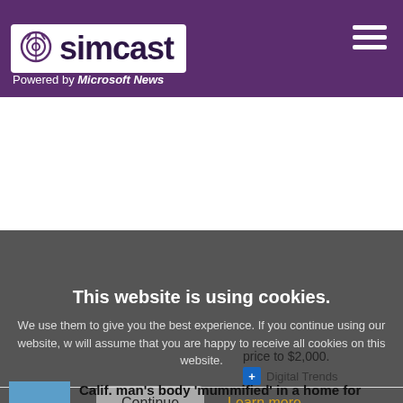simcast — Powered by Microsoft News
[Figure (screenshot): Search bar with placeholder text 'Search Internet' and purple search icon]
Trending News
This website is using cookies. We use them to give you the best experience. If you continue using our website, we will assume that you are happy to receive all cookies on this website.
price to $2,000.
Digital Trends
Calif. man's body 'mummified' in a home for years while son collected his checks